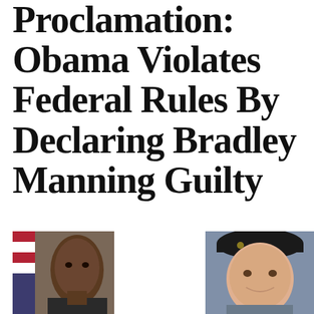Proclamation: Obama Violates Federal Rules By Declaring Bradley Manning Guilty
[Figure (photo): Portrait photo of Barack Obama with American flag in background]
[Figure (photo): Photo of Bradley Manning in military uniform with black beret]